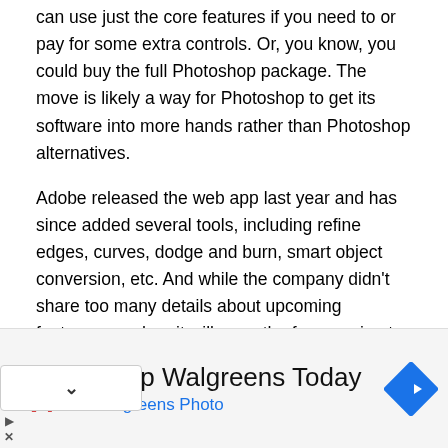can use just the core features if you need to or pay for some extra controls. Or, you know, you could buy the full Photoshop package. The move is likely a way for Photoshop to get its software into more hands rather than Photoshop alternatives.
Adobe released the web app last year and has since added several tools, including refine edges, curves, dodge and burn, smart object conversion, etc. And while the company didn't share too many details about upcoming features, or when it will open the free version to more people, we have a feeling it will be sooner rather than later.
In the meantime, Adobe will continue to add new features, like support for reviewing and commenting on images, and
[Figure (other): Advertisement banner for Walgreens Photo showing the Walgreens logo (stylized W in red), the text 'Shop Walgreens Today' in large dark text, 'Walgreens Photo' in blue text, and a blue navigation/direction road sign icon on the right.]